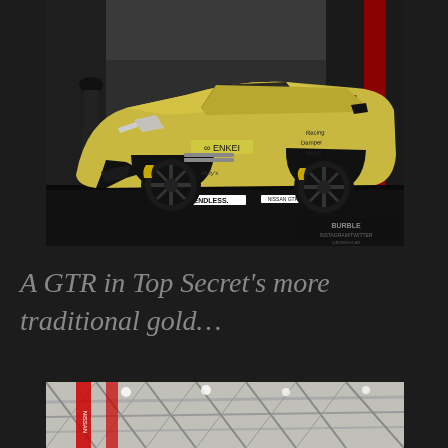[Figure (photo): Gold Nissan GTR with ENKEI and ENDLESS branding at a car show, featuring wide-body kit and black wheels with gold brake calipers]
A GTR in Top Secret’s more traditional gold…
[Figure (photo): Interior of exhibition hall showing steel truss ceiling structure with red vertical elements, partially visible]